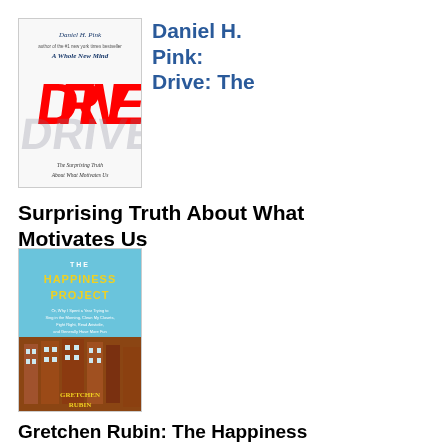[Figure (illustration): Book cover of 'Drive: The Surprising Truth About What Motivates Us' by Daniel H. Pink. White cover with large red text DRIVE, subtitle 'The Surprising Truth About What Motivates Us', mentions A Whole New Mind.]
Daniel H. Pink: Drive: The Surprising Truth About What Motivates Us
[Figure (illustration): Book cover of 'The Happiness Project' by Gretchen Rubin. Blue/teal top with yellow title text 'THE HAPPINESS PROJECT', bottom half showing brick apartment buildings.]
Gretchen Rubin: The Happiness Project